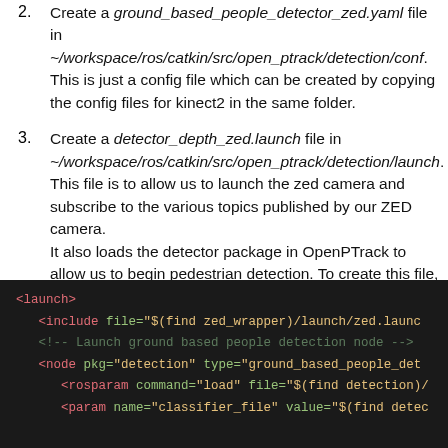Create a ground_based_people_detector_zed.yaml file in ~/workspace/ros/catkin/src/open_ptrack/detection/conf. This is just a config file which can be created by copying the config files for kinect2 in the same folder.
Create a detector_depth_zed.launch file in ~/workspace/ros/catkin/src/open_ptrack/detection/launch. This file is to allow us to launch the zed camera and subscribe to the various topics published by our ZED camera. It also loads the detector package in OpenPTrack to allow us to begin pedestrian detection. To create this file, you may take reference from the other detector launch files in the same folder. The completed file would be as follows:
[Figure (screenshot): Code block showing XML launch file content with syntax highlighting on dark background. Shows <launch>, <include file="$(find zed_wrapper)/launch/zed.launc...", <!-- Launch ground based people detection node -->, <node pkg="detection" type="ground_based_people_det...", <rosparam command="load" file="$(find detection)/...", <param name="classifier_file" value="$(find detec...]